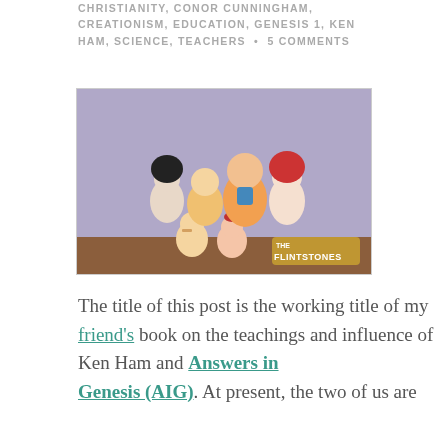CHRISTIANITY, CONOR CUNNINGHAM, CREATIONISM, EDUCATION, GENESIS 1, KEN HAM, SCIENCE, TEACHERS • 5 COMMENTS
[Figure (illustration): Cartoon illustration of the Flintstones characters — Fred, Wilma, Barney, Betty, Pebbles, and Bamm-Bamm — on a purple background with The Flintstones logo in the lower right corner.]
The title of this post is the working title of my friend's book on the teachings and influence of Ken Ham and Answers in Genesis (AIG). At present, the two of us are